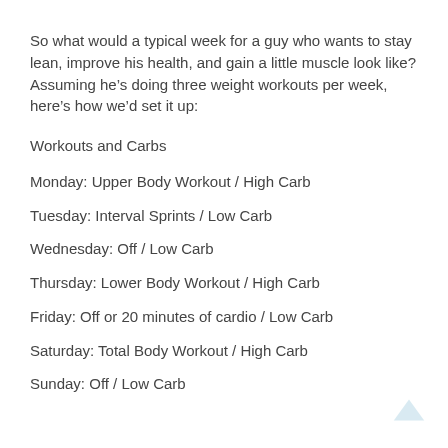So what would a typical week for a guy who wants to stay lean, improve his health, and gain a little muscle look like? Assuming he’s doing three weight workouts per week, here’s how we’d set it up:
Workouts and Carbs
Monday: Upper Body Workout / High Carb
Tuesday: Interval Sprints / Low Carb
Wednesday: Off / Low Carb
Thursday: Lower Body Workout / High Carb
Friday: Off or 20 minutes of cardio / Low Carb
Saturday: Total Body Workout / High Carb
Sunday: Off / Low Carb